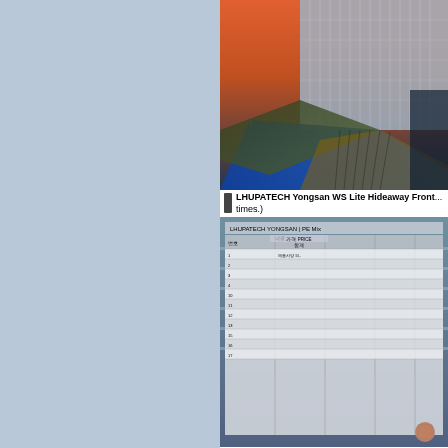[Figure (photo): Aerial/architectural rendering of LHUPATECH Yongsan WS Lite building complex, modern glass and steel structure with blue facade, viewed from above at dusk]
LHUPATECH Yongsan WS Lite Hideaway Front... times.)
[Figure (screenshot): LHUPATECH Yongsan WS Lite Pictural Selection - screenshot of a data table/spreadsheet overlaid on a photo of a modern glass building]
LHUPATECH Yongsan WS Lite Pictural Selectin... 897 times.)
[Figure (screenshot): Bottom partial screenshot showing LHUPATECH data table with YONGSAN district of Seoul header text]